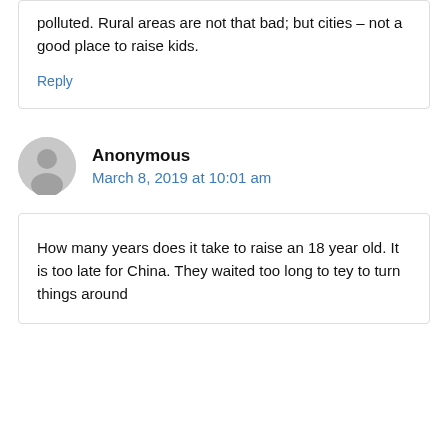polluted. Rural areas are not that bad; but cities – not a good place to raise kids.
Reply
Anonymous
March 8, 2019 at 10:01 am
How many years does it take to raise an 18 year old. It is too late for China. They waited too long to tey to turn things around